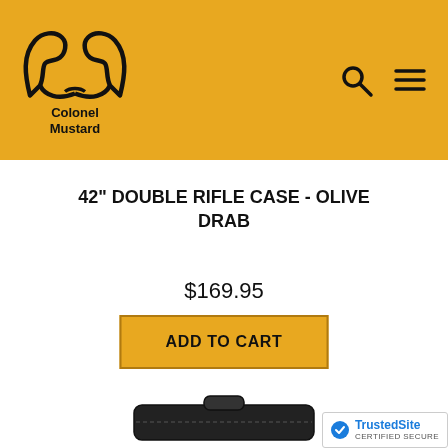[Figure (logo): Colonel Mustard logo with stylized longhorn/mustache graphic on gold/yellow background header, with search and menu icons on the right]
42" DOUBLE RIFLE CASE - OLIVE DRAB
$169.95
ADD TO CART
[Figure (photo): Partial view of a black soft rifle case with handle, cut off at the bottom of the page]
[Figure (logo): TrustedSite Certified Secure badge in bottom right corner]